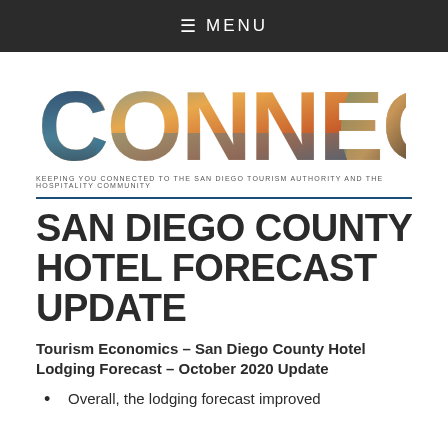MENU
[Figure (logo): CONNECT logo with scenic photography fill — tagline: KEEPING YOU CONNECTED TO THE SAN DIEGO TOURISM AUTHORITY AND THE HOSPITALITY COMMUNITY]
SAN DIEGO COUNTY HOTEL FORECAST UPDATE
Tourism Economics – San Diego County Hotel Lodging Forecast – October 2020 Update
Overall, the lodging forecast improved